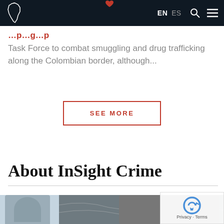EN  ES
Task Force to combat smuggling and drug trafficking along the Colombian border, although...
SEE MORE
About InSight Crime
[Figure (photo): Photograph of a person in front of a world map background, partially visible at bottom of page. Another face visible on the left side.]